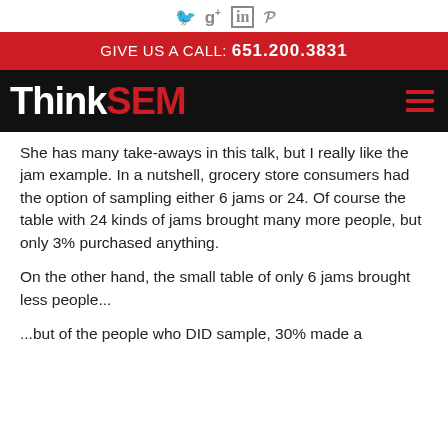Social icons: Twitter, Google+, LinkedIn, Pinterest
GIVE US A CALL: 651.200.3831
[Figure (logo): ThinkSEM logo — 'Think' in white, 'SEM' in red, on black background with red hamburger menu icon]
She has many take-aways in this talk, but I really like the jam example. In a nutshell, grocery store consumers had the option of sampling either 6 jams or 24. Of course the table with 24 kinds of jams brought many more people, but only 3% purchased anything.
On the other hand, the small table of only 6 jams brought less people...
...but of the people who DID sample, 30% made a